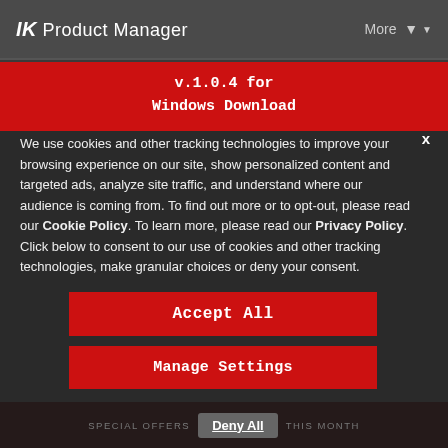IK Product Manager   More ▼
v.1.0.4 for
Windows Download
We use cookies and other tracking technologies to improve your browsing experience on our site, show personalized content and targeted ads, analyze site traffic, and understand where our audience is coming from. To find out more or to opt-out, please read our Cookie Policy. To learn more, please read our Privacy Policy. Click below to consent to our use of cookies and other tracking technologies, make granular choices or deny your consent.
Accept All
Manage Settings
SPECIAL OFFERS   Deny All   THIS MONTH